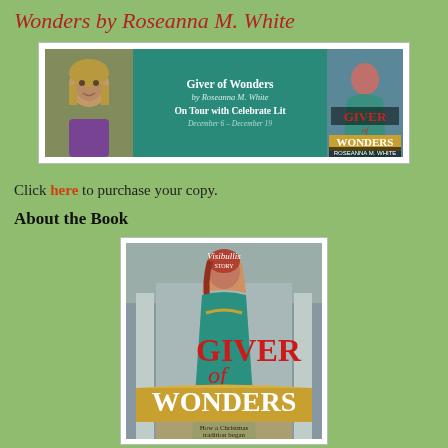Wonders by Roseanna M. White
[Figure (illustration): Book tour promotional banner for Giver of Wonders by Roseanna M. White, featuring author photo on left, teal center panel with tour text, and book cover on right]
Click here to purchase your copy.
About the Book
[Figure (illustration): Book cover of Giver of Wonders by Roseanna M. White showing a woman in teal dress with red hair, title text in red/gold, subtitle 'How a Christmas tradition began']